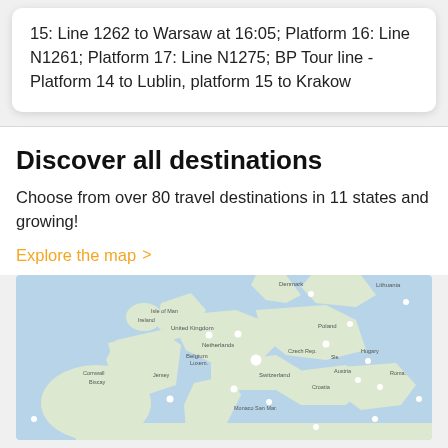15: Line 1262 to Warsaw at 16:05; Platform 16: Line N1261; Platform 17: Line N1275; BP Tour line - Platform 14 to Lublin, platform 15 to Krakow
Discover all destinations
Choose from over 80 travel destinations in 11 states and growing!
Explore the map >
[Figure (map): Map of Western and Central Europe with green location pins marking travel destinations in countries including UK, Netherlands, Belgium, Germany, Poland, Czech Republic, Switzerland, Austria, Hungary, Croatia, and others.]